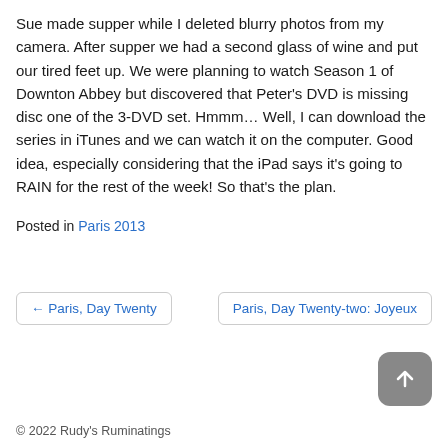Sue made supper while I deleted blurry photos from my camera. After supper we had a second glass of wine and put our tired feet up. We were planning to watch Season 1 of Downton Abbey but discovered that Peter's DVD is missing disc one of the 3-DVD set. Hmmm… Well, I can download the series in iTunes and we can watch it on the computer. Good idea, especially considering that the iPad says it's going to RAIN for the rest of the week! So that's the plan.
Posted in Paris 2013
← Paris, Day Twenty
Paris, Day Twenty-two: Joyeux
© 2022 Rudy's Ruminatings